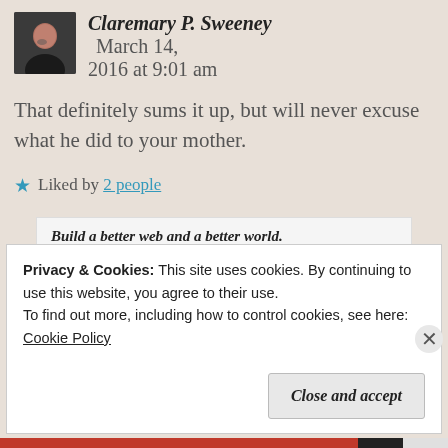Claremary P. Sweeney  March 14, 2016 at 9:01 am
That definitely sums it up, but will never excuse what he did to your mother.
★ Liked by 2 people
[Figure (screenshot): Ad banner: Build a better web and a better world.]
REPORT THIS AD
Privacy & Cookies: This site uses cookies. By continuing to use this website, you agree to their use.
To find out more, including how to control cookies, see here: Cookie Policy
Close and accept